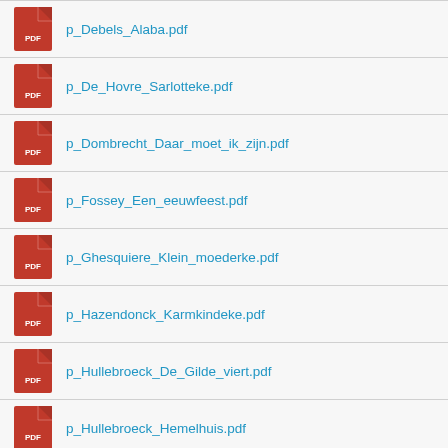p_Debels_Alaba.pdf
p_De_Hovre_Sarlotteke.pdf
p_Dombrecht_Daar_moet_ik_zijn.pdf
p_Fossey_Een_eeuwfeest.pdf
p_Ghesquiere_Klein_moederke.pdf
p_Hazendonck_Karmkindeke.pdf
p_Hullebroeck_De_Gilde_viert.pdf
p_Hullebroeck_Hemelhuis.pdf
p_Hullebroeck_Klompenliedje.pdf